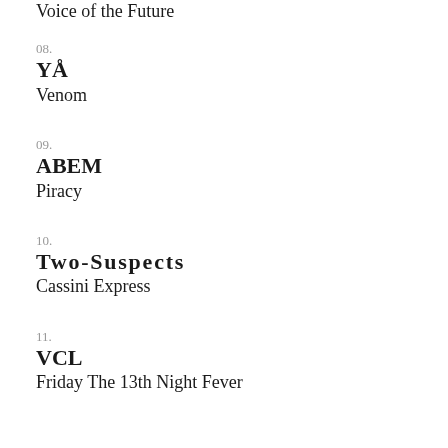Voice of the Future
08. YÅ Venom
09. ABEM Piracy
10. Two-Suspects Cassini Express
11. VCL Friday The 13th Night Fever